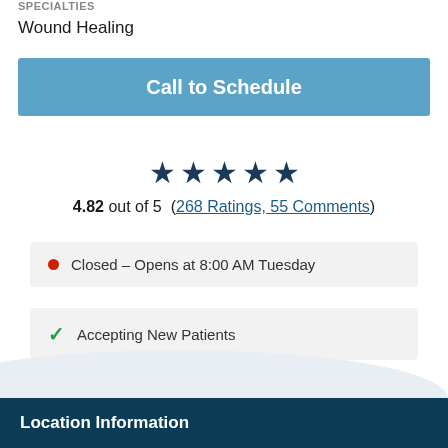SPECIALTIES
Wound Healing
Call to Schedule
[Figure (other): Five dark navy stars rating display]
4.82 out of 5  (268 Ratings, 55 Comments)
Closed – Opens at 8:00 AM Tuesday
Accepting New Patients
Location Information